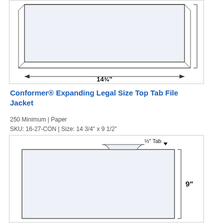[Figure (engineering-diagram): Top engineering diagram showing a rectangular file jacket from top view with a dimension line indicating 14 3/4 inch width. The dimension arrow spans the bottom of the diagram with text '14¾"' centered below.]
Conformer® Expanding Legal Size Top Tab File Jacket
250 Minimum | Paper
SKU: 16-27-CON | Size: 14 3/4" x 9 1/2"
[Figure (engineering-diagram): Bottom engineering diagram showing a file jacket with a ½" Tab labeled in upper right with arrow, and a dimension line on the right side indicating 9 inch height. The jacket outline shows a notched top-tab profile.]